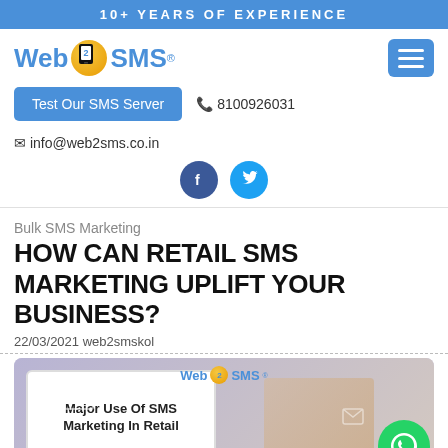10+ YEARS OF EXPERIENCE
[Figure (logo): Web2SMS logo with orange circle containing '2' and phone icon]
Test Our SMS Server  📞 8100926031  ✉ info@web2sms.co.in
[Figure (illustration): Facebook and Twitter social media icons (circular blue buttons)]
Bulk SMS Marketing
HOW CAN RETAIL SMS MARKETING UPLIFT YOUR BUSINESS?
22/03/2021 web2smskol
[Figure (illustration): Web2SMS branded image showing 'Major Use Of SMS Marketing In Retail' with a hand holding a phone and envelope icons on purple background, with WhatsApp FAB button overlay]